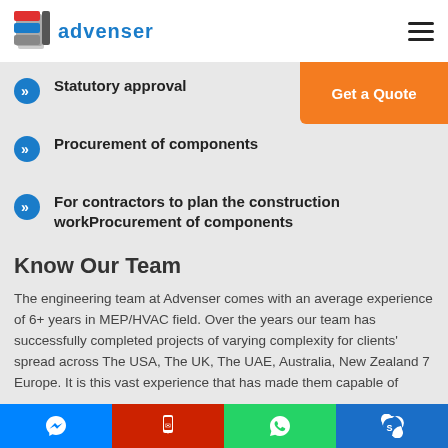ADVENSER
Statutory approval
Procurement of components
For contractors to plan the construction workProcurement of components
Know Our Team
The engineering team at Advenser comes with an average experience of 6+ years in MEP/HVAC field. Over the years our team has successfully completed projects of varying complexity for clients' spread across The USA, The UK, The UAE, Australia, New Zealand 7 Europe. It is this vast experience that has made them capable of
Messenger | Phone | WhatsApp | Skype